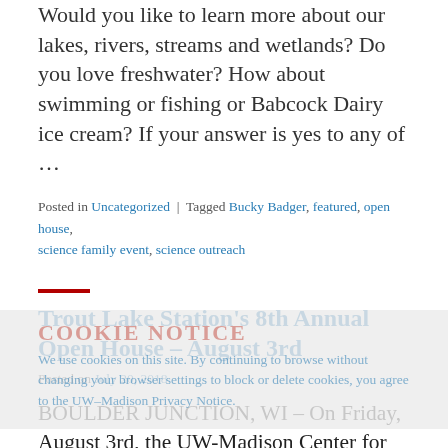Would you like to learn more about our lakes, rivers, streams and wetlands? Do you love freshwater? How about swimming or fishing or Babcock Dairy ice cream? If your answer is yes to any of …
Posted in Uncategorized | Tagged Bucky Badger, featured, open house, science family event, science outreach
Trout Lake Station's 8th Annual Open House – August 3rd
Posted on July 20, 2018
COOKIE NOTICE We use cookies on this site. By continuing to browse without changing your browser settings to block or delete cookies, you agree to the UW–Madison Privacy Notice.
BOULDER JUNCTION, WI – On Friday, August 3rd, the UW-Madison Center for Limnology will host its 8th annual Open House at Trout Lake Station, our research facility in Wisconsin's beautiful Northwoods.